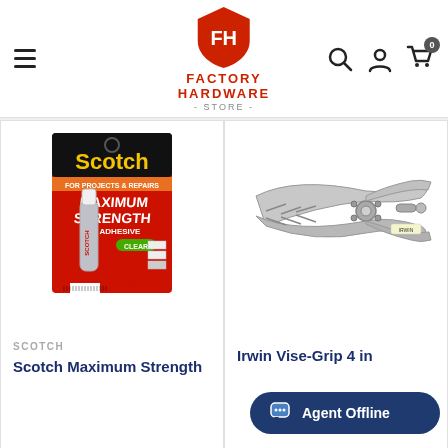[Figure (logo): Factory Hardware Store logo: red shield with 'FH' monogram, text FACTORY HARDWARE - STORE - in red]
[Figure (infographic): Navigation icons: hamburger menu, search magnifier, user account, shopping cart with badge showing 0]
[Figure (photo): Scotch Maximum Strength Adhesive product on red packaging]
SCOTCH
Scotch Maximum Strength
[Figure (photo): Irwin Vise-Grip 4 inch locking pliers, metallic silver]
Irwin Vise-Grip 4 in
[Figure (other): Agent Offline live chat button overlay in dark blue]